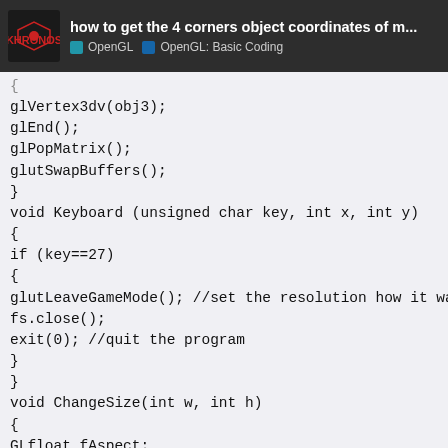how to get the 4 corners object coordinates of m... | OpenGL | OpenGL: Basic Coding
glVertex3dv(obj3);
glEnd();
glPopMatrix();
glutSwapBuffers();
}
void Keyboard (unsigned char key, int x, int y)
{
if (key==27)
{
glutLeaveGameMode(); //set the resolution how it was
fs.close();
exit(0); //quit the program
}
}
void ChangeSize(int w, int h)
{
GLfloat fAspect;
// Prevent a divide by zero, when window is too short
// (you cant make a window of zero width)